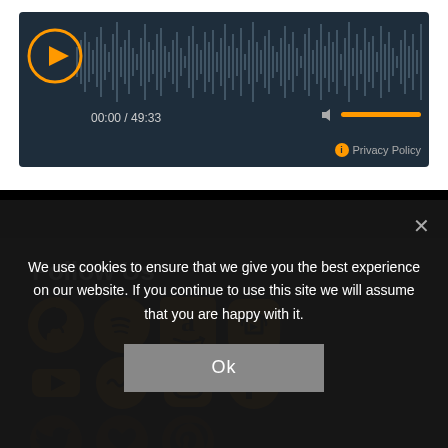[Figure (screenshot): Audio player widget with dark background, play button (orange circle with triangle), waveform visualization, timestamp 00:00 / 49:33, volume bar in orange, and Privacy Policy link]
[Figure (infographic): Follow Us section with orange social media icons in a grid: Apple Podcasts, Spotify, Amazon, Castbox, YouTube, Stitcher, Instagram, Facebook, Twitter, iHeartRadio, Pinterest, LinkedIn, Goodreads]
We use cookies to ensure that we give you the best experience on our website. If you continue to use this site we will assume that you are happy with it.